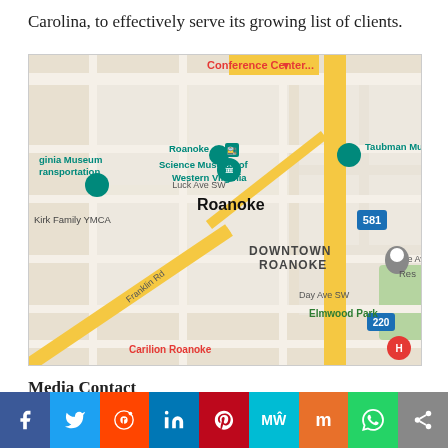Carolina, to effectively serve its growing list of clients.
[Figure (map): Google Maps screenshot showing Downtown Roanoke, Virginia area with landmarks including Science Museum of Western Virginia, Taubman Museum, Kirk Family YMCA, Virginia Museum of Transportation, Roanoke train station, Elmwood Park, Carilion Roanoke, Conference Center, and roads including Franklin Rd, Luck Ave SW, Day Ave SW, Dale Ave, and highways 581 and 220.]
Media Contact
[Figure (logo): Partial logo visible at bottom of page]
f  twitter  reddit  in  pinterest  mw  mix  whatsapp  share